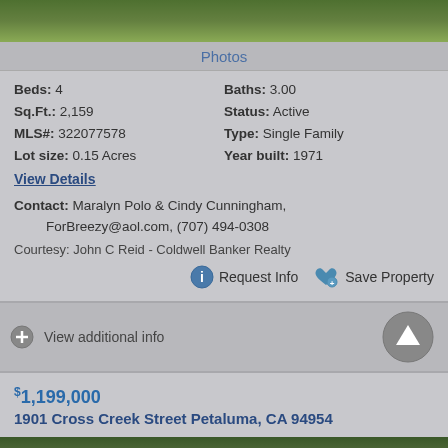[Figure (photo): Aerial or landscape photo of green grass/lawn area, top portion of property photo]
Photos
Beds: 4   Baths: 3.00
Sq.Ft.: 2,159   Status: Active
MLS#: 322077578   Type: Single Family
Lot size: 0.15 Acres   Year built: 1971
View Details
Contact: Maralyn Polo & Cindy Cunningham, ForBreezy@aol.com, (707) 494-0308
Courtesy: John C Reid - Coldwell Banker Realty
Request Info   Save Property
View additional info
$1,199,000
1901 Cross Creek Street Petaluma, CA 94954
[Figure (photo): Landscape photo showing trees and outdoor scenery for next property listing]